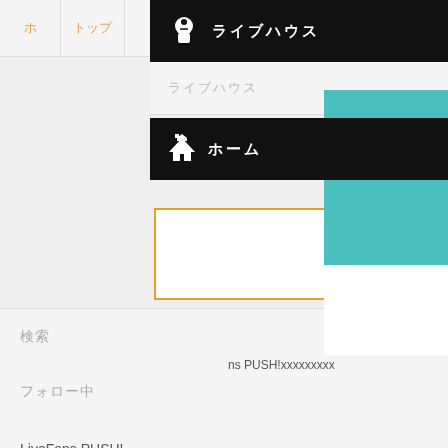ホ
トップ
ライブハウス
ライブハウス
ホーム
会員登録/xxxxxxxxxxxxxx
検索
フォロー中
LiveFans PUSH!
アカウント設定
ライブレポ
ライブ
ns PUSH!xxxxxxxxx
xxxxxx2022年F
2022/08/19 (金)